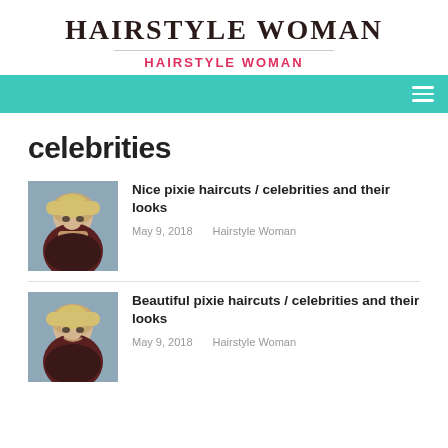HAIRSTYLE WOMAN
HAIRSTYLE WOMAN
celebrities
[Figure (photo): Thumbnail photo of a woman with a short blonde pixie haircut, wearing a dark top with a collar]
Nice pixie haircuts / celebrities and their looks
May 9, 2018    Hairstyle Woman
[Figure (photo): Thumbnail photo of a woman with a short blonde pixie haircut, smiling, wearing a dark top]
Beautiful pixie haircuts / celebrities and their looks
May 9, 2018    Hairstyle Woman